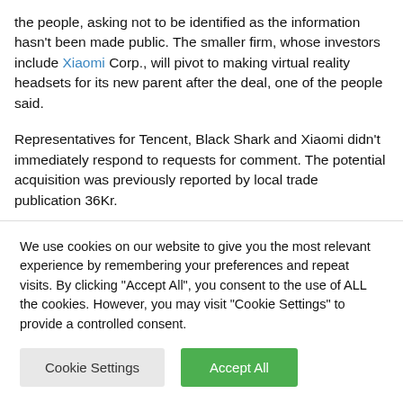the people, asking not to be identified as the information hasn't been made public. The smaller firm, whose investors include Xiaomi Corp., will pivot to making virtual reality headsets for its new parent after the deal, one of the people said.
Representatives for Tencent, Black Shark and Xiaomi didn't immediately respond to requests for comment. The potential acquisition was previously reported by local trade publication 36Kr.
We use cookies on our website to give you the most relevant experience by remembering your preferences and repeat visits. By clicking "Accept All", you consent to the use of ALL the cookies. However, you may visit "Cookie Settings" to provide a controlled consent.